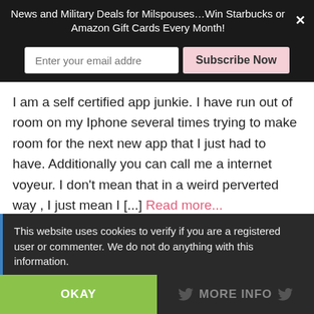News and Military Deals for Milspouses…Win Starbucks or Amazon Gift Cards Every Month!
I am a self certified app junkie. I have run out of room on my Iphone several times trying to make room for the next new app that I just had to have. Additionally you can call me a internet voyeur. I don't mean that in a weird perverted way , I just mean I [...] Read more...
AUGUST 15, 2013 BY ARMY WIFE 101 | 2 COMMENTS
This website uses cookies to verify if you are a registered user or commenter. We do not do anything with this information.